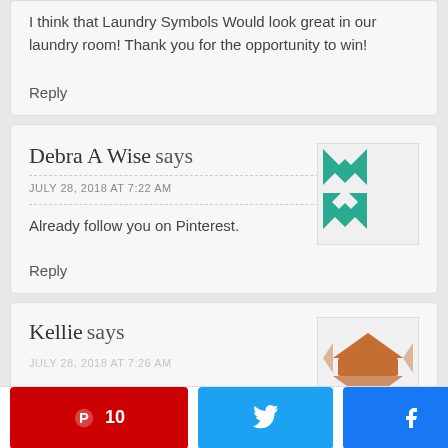I think that Laundry Symbols Would look great in our laundry room! Thank you for the opportunity to win!
Reply
Debra A Wise says
JULY 28, 2018 AT 7:22 AM
Already follow you on Pinterest.
Reply
Kellie says
JULY 28, 2018 AT 7:26 AM
I love the Pumpkin Spice and Everything Nice